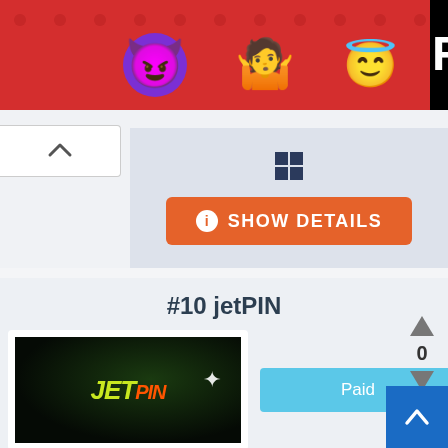[Figure (screenshot): Advertisement banner with emoji characters (devil, woman shrugging, angel) on red background, partially cropped]
[Figure (screenshot): Collapse/chevron up button on left side]
[Figure (screenshot): Windows logo icon above Show Details button]
SHOW DETAILS
#10 jetPIN
[Figure (screenshot): jetPIN game thumbnail showing dark jungle/fantasy scene with JetPIN logo text in yellow-green and orange]
Paid
0
jetPIN offers a perfect mix of Adventure, Action,